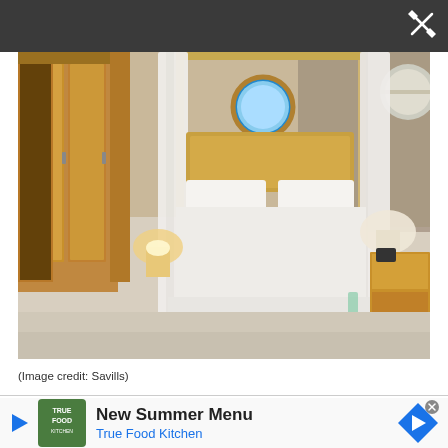[Figure (photo): Interior bedroom photo showing a four-poster canopy bed with white curtains and linens, wooden wardrobe, porthole window, and bedside lamps. Wooden furniture and neutral carpet.]
(Image credit: Savills)
[Figure (other): Advertisement banner for True Food Kitchen featuring logo, text 'New Summer Menu' and 'True Food Kitchen', play button icon, and navigation arrow icon.]